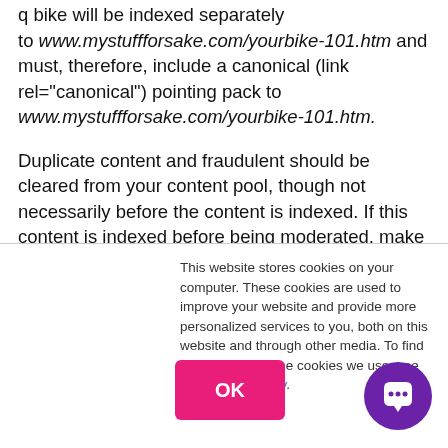q bike will be indexed separately to www.mystuffforsake.com/yourbike-101.htm and must, therefore, include a canonical (link rel="canonical") pointing pack to www.mystuffforsake.com/yourbike-101.htm.
Duplicate content and fraudulent should be cleared from your content pool, though not necessarily before the content is indexed. If this content is indexed before being moderated, make sure that you have the right 301 structures in place to handle this inactive content – or even allow this content to return a properly structured 404 (not found) page.
This website stores cookies on your computer. These cookies are used to improve your website and provide more personalized services to you, both on this website and through other media. To find out more about the cookies we use, see our Privacy Policy.